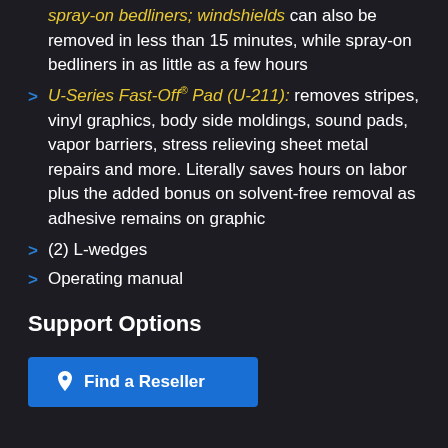spray-on bedliners; windshields can also be removed in less than 15 minutes, while spray-on bedliners in as little as a few hours
U-Series Fast-Off® Pad (U-211): removes stripes, vinyl graphics, body side moldings, sound pads, vapor barriers, stress relieving sheet metal repairs and more. Literally saves hours on labor plus the added bonus on solvent-free removal as adhesive remains on graphic
(2) L-wedges
Operating manual
Support Options
[Figure (other): Blue 'Find a Reseller' button with location pin icon]